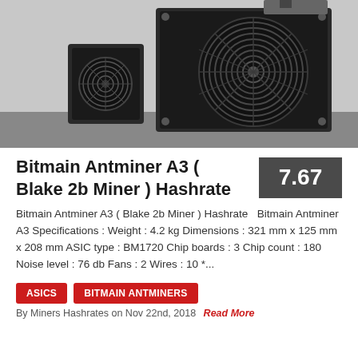[Figure (photo): Photograph of Bitmain Antminer A3 mining hardware showing two ASIC miners with large cooling fans against a gray background]
Bitmain Antminer A3 ( Blake 2b Miner ) Hashrate
Bitmain Antminer A3 ( Blake 2b Miner ) Hashrate  Bitmain Antminer A3 Specifications : Weight : 4.2 kg Dimensions : 321 mm x 125 mm x 208 mm ASIC type : BM1720 Chip boards : 3 Chip count : 180 Noise level : 76 db Fans : 2 Wires : 10 *...
ASICS
BITMAIN ANTMINERS
By Miners Hashrates on Nov 22nd, 2018  Read More